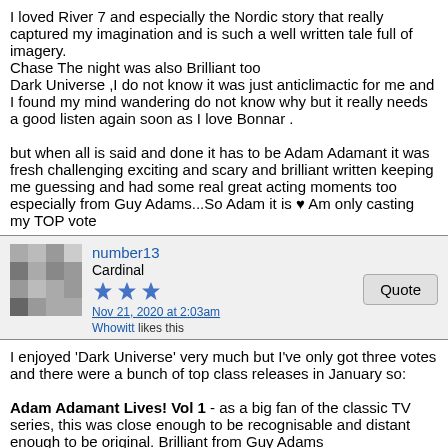I loved River 7 and especially the Nordic story that really captured my imagination and is such a well written tale full of imagery.
Chase The night was also Brilliant too
Dark Universe ,I do not know it was just anticlimactic for me and I found my mind wandering do not know why but it really needs a good listen again soon as I love Bonnar .

but when all is said and done it has to be Adam Adamant it was fresh challenging exciting and scary and brilliant written keeping me guessing and had some real great acting moments too especially from Guy Adams...So Adam it is ♥ Am only casting my TOP vote
number13
Cardinal
★★★
Nov 21, 2020 at 2:03am
Whovitt likes this
I enjoyed 'Dark Universe' very much but I've only got three votes and there were a bunch of top class releases in January so:

Adam Adamant Lives! Vol 1 - as a big fan of the classic TV series, this was close enough to be recognisable and distant enough to be original. Brilliant from Guy Adams
The Diary of River Song Vol 7 - my favourite River set to date. Detective